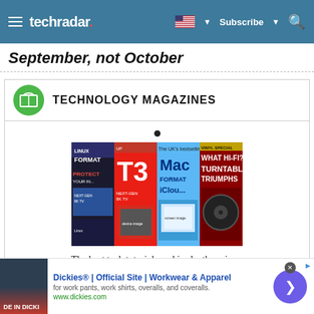techradar
September, not October
TECHNOLOGY MAGAZINES
[Figure (illustration): Carousel of technology magazine covers: Linux Format, T3, Mac Format, What Hi-Fi? with a navigation dot indicator above]
The best tech tutorials and in-depth reviews
[Figure (infographic): Advertisement banner: Dickies® | Official Site | Workwear & Apparel. for work pants, work shirts, overalls, and coveralls. www.dickies.com]